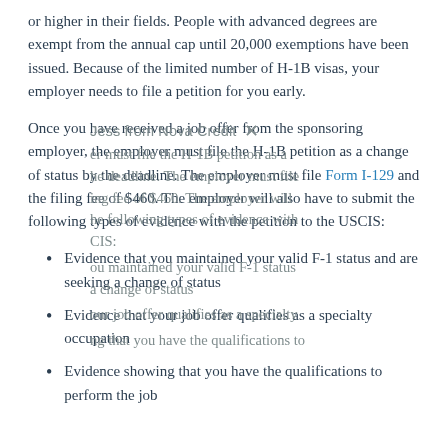or higher in their fields. People with advanced degrees are exempt from the annual cap until 20,000 exemptions have been issued. Because of the limited number of H-1B visas, your employer needs to file a petition for you early.
Once you have received a job offer from the sponsoring employer, the employer must file the H-1B petition as a change of status by the deadline. The employer must file Form I-129 and the filing fee of $460. The employer will also have to submit the following types of evidence with the petition to the USCIS:
Evidence that you maintained your valid F-1 status and are seeking a change of status
Evidence that your job offer qualifies as a specialty occupation
Evidence showing that you have the qualifications to perform the job